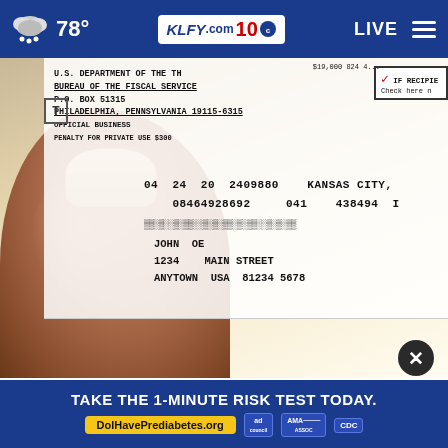78° KLFY.com 10 LIVE
[Figure (photo): Hand holding a U.S. government check from the Bureau of the Fiscal Service, showing address P.O. Box 51315, Philadelphia, Pennsylvania 19115-6315, check numbers 04 24 20 2409880 KANSAS CITY, 08464928692 041 438494, addressed to JOHN OE, 1234 MAIN STREET, ANYTOWN USA 81234 5678]
People on Medicare Are Getting a Big Surprise This Month
Everyday Finance
[Figure (other): Advertisement banner: TAKE THE 1-MINUTE RISK TEST TODAY. DolHavePrediabetes.org with ad council, AMA, and CDC logos]